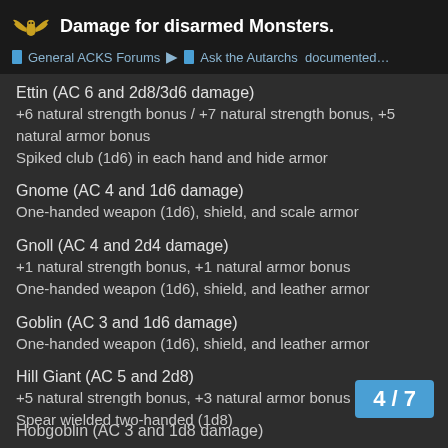Damage for disarmed Monsters. | General ACKS Forums | Ask the Autarchs documented…
Ettin (AC 6 and 2d8/3d6 damage)
+6 natural strength bonus / +7 natural strength bonus, +5 natural armor bonus
Spiked club (1d6) in each hand and hide armor
Gnome (AC 4 and 1d6 damage)
One-handed weapon (1d6), shield, and scale armor
Gnoll (AC 4 and 2d4 damage)
+1 natural strength bonus, +1 natural armor bonus
One-handed weapon (1d6), shield, and leather armor
Goblin (AC 3 and 1d6 damage)
One-handed weapon (1d6), shield, and leather armor
Hill Giant (AC 5 and 2d8)
+5 natural strength bonus, +3 natural armor bonus
Spear wielded two-handed (1d8)
4 / 7
Hobgoblin (AC 3 and 1d8 damage)